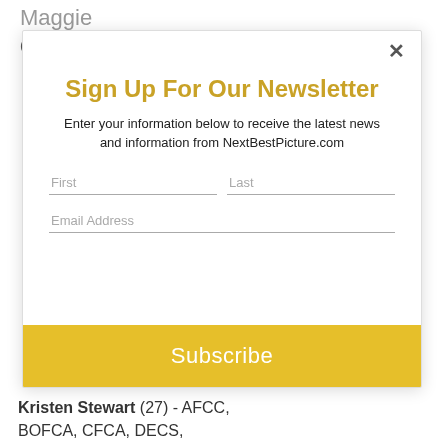Maggie
Gyllenhaal (2) - GOTHAM,
Sign Up For Our Newsletter
Enter your information below to receive the latest news and information from NextBestPicture.com
First
Last
Email Address
Subscribe
Kristen Stewart (27) - AFCC, BOFCA, CFCA, DECS,